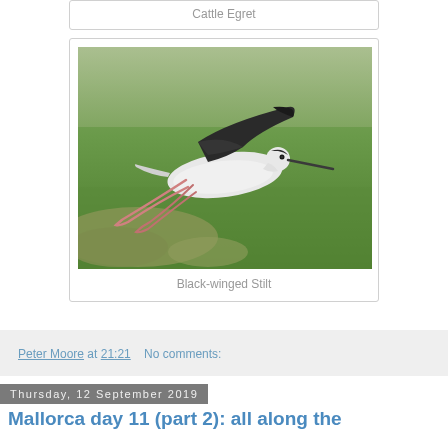Cattle Egret
[Figure (photo): Black-winged Stilt bird in flight over green grass, viewed from the side, showing black wings, white body, and long pink legs extended behind.]
Black-winged Stilt
Peter Moore at 21:21    No comments:
Thursday, 12 September 2019
Mallorca day 11 (part 2): all along the